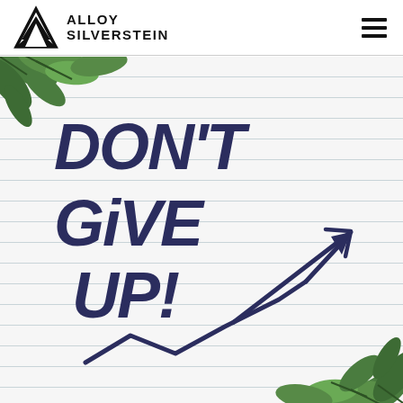[Figure (logo): Alloy Silverstein logo with geometric diamond/triangle shape and company name in bold uppercase letters]
[Figure (photo): Photo of a lined notepad with 'DON'T GIVE UP!' written in dark blue/navy chunky marker text, accompanied by a hand-drawn line graph showing an upward trend arrow, with green leaves in the corners of the image]